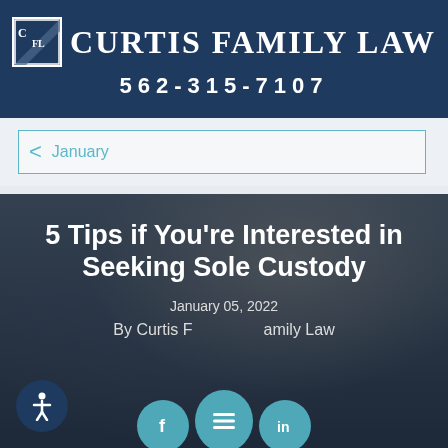Curtis Family Law | 562-315-7107
January
5 Tips if You're Interested in Seeking Sole Custody
January 05, 2022
By Curtis Family Law